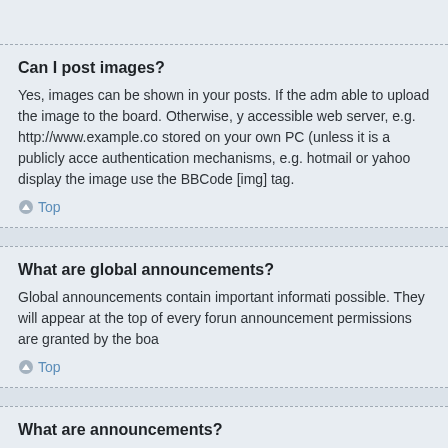Can I post images?
Yes, images can be shown in your posts. If the adm able to upload the image to the board. Otherwise, y accessible web server, e.g. http://www.example.co stored on your own PC (unless it is a publicly acce authentication mechanisms, e.g. hotmail or yahoo display the image use the BBCode [img] tag.
Top
What are global announcements?
Global announcements contain important informati possible. They will appear at the top of every forun announcement permissions are granted by the boa
Top
What are announcements?
Announcements often contain important informatio you should read them whenever possible. Announ forum to which they are posted. As with global ann granted by the board administrator.